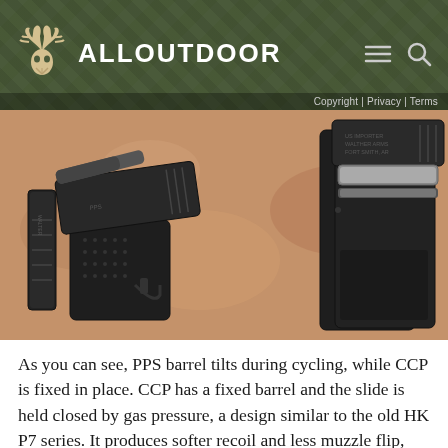ALLOUTDOOR | Copyright | Privacy | Terms
[Figure (photo): Two handguns side by side on a terracotta surface. Left: a pistol (PPS) with the slide partially removed and magazine out, showing a tilted barrel. Right: a pistol (CCP) with slide locked back, exposing a fixed barrel with the guide rod and recoil spring visible.]
As you can see, PPS barrel tilts during cycling, while CCP is fixed in place. CCP has a fixed barrel and the slide is held closed by gas pressure, a design similar to the old HK P7 series. It produces softer recoil and less muzzle flip, but at the cost of trapping more heat in the